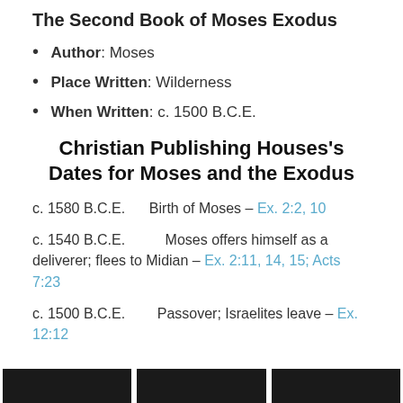The Second Book of Moses Exodus
Author: Moses
Place Written: Wilderness
When Written: c. 1500 B.C.E.
Christian Publishing Houses’s Dates for Moses and the Exodus
c. 1580 B.C.E.      Birth of Moses – Ex. 2:2, 10
c. 1540 B.C.E.      Moses offers himself as a deliverer; flees to Midian – Ex. 2:11, 14, 15; Acts 7:23
c. 1500 B.C.E.      Passover; Israelites leave – Ex. 12:12